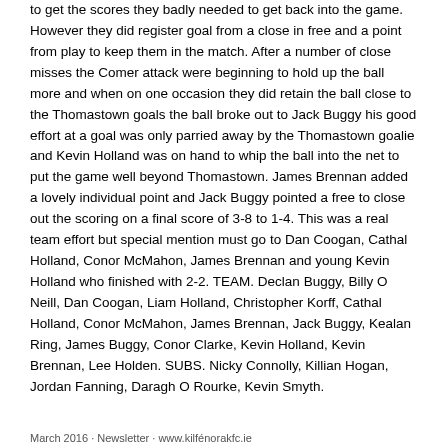to get the scores they badly needed to get back into the game. However they did register goal from a close in free and a point from play to keep them in the match. After a number of close misses the Comer attack were beginning to hold up the ball more and when on one occasion they did retain the ball close to the Thomastown goals the ball broke out to Jack Buggy his good effort at a goal was only parried away by the Thomastown goalie and Kevin Holland was on hand to whip the ball into the net to put the game well beyond Thomastown. James Brennan added a lovely individual point and Jack Buggy pointed a free to close out the scoring on a final score of 3-8 to 1-4. This was a real team effort but special mention must go to Dan Coogan, Cathal Holland, Conor McMahon, James Brennan and young Kevin Holland who finished with 2-2. TEAM. Declan Buggy, Billy O Neill, Dan Coogan, Liam Holland, Christopher Korff, Cathal Holland, Conor McMahon, James Brennan, Jack Buggy, Kealan Ring, James Buggy, Conor Clarke, Kevin Holland, Kevin Brennan, Lee Holden. SUBS. Nicky Connolly, Killian Hogan, Jordan Fanning, Daragh O Rourke, Kevin Smyth.
March 2016 · Newsletter · www.kilfénorakfc.ie